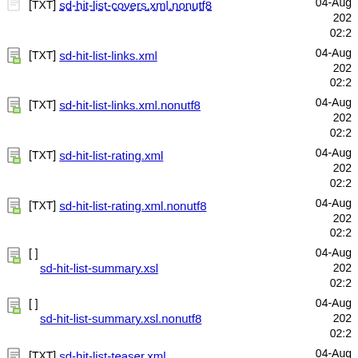[TXT] sd-hit-list-covers.xml.nonutf8   04-Aug-2022 02:2
[TXT] sd-hit-list-links.xml   04-Aug-2022 02:2
[TXT] sd-hit-list-links.xml.nonutf8   04-Aug-2022 02:2
[TXT] sd-hit-list-rating.xml   04-Aug-2022 02:2
[TXT] sd-hit-list-rating.xml.nonutf8   04-Aug-2022 02:2
[ ] sd-hit-list-summary.xsl   04-Aug-2022 02:2
[ ] sd-hit-list-summary.xsl.nonutf8   04-Aug-2022 02:2
[TXT] sd-hit-list-teaser.xml   04-Aug-2022 02:2
[TXT] (partial) 04-Aug